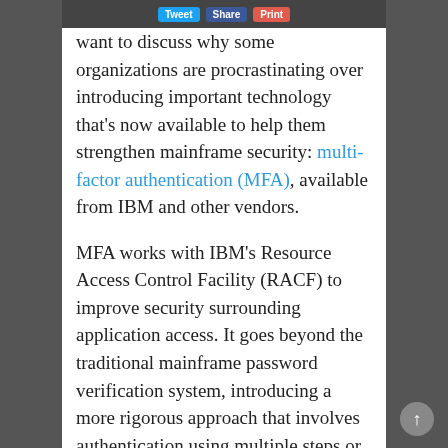want to discuss why some organizations are procrastinating over introducing important technology that's now available to help them strengthen mainframe security: multi-factor authentication (MFA), available from IBM and other vendors.
MFA works with IBM's Resource Access Control Facility (RACF) to improve security surrounding application access. It goes beyond the traditional mainframe password verification system, introducing a more rigorous approach that involves authentication using multiple steps or factors. For example, through MFA you can require users to enter a time-restricted randomized PIN generated by an external device, such as a mobile app or pin-pad,